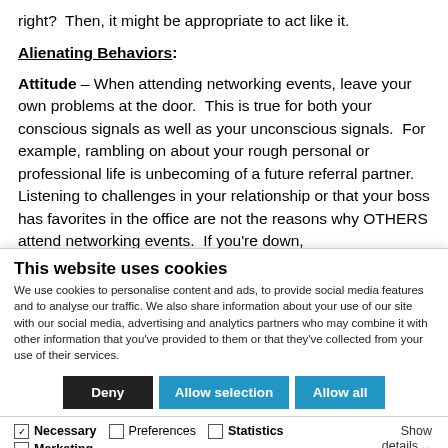right?  Then, it might be appropriate to act like it.
Alienating Behaviors:
Attitude – When attending networking events, leave your own problems at the door.  This is true for both your conscious signals as well as your unconscious signals.  For example, rambling on about your rough personal or professional life is unbecoming of a future referral partner.  Listening to challenges in your relationship or that your boss has favorites in the office are not the reasons why OTHERS attend networking events.  If you're down,
This website uses cookies
We use cookies to personalise content and ads, to provide social media features and to analyse our traffic. We also share information about your use of our site with our social media, advertising and analytics partners who may combine it with other information that you've provided to them or that they've collected from your use of their services.